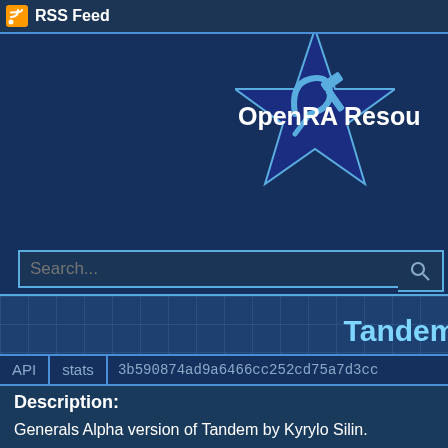RSS Feed
[Figure (logo): OpenRA logo: blue star with hammer and sickle symbol]
OpenRA Resou
Search...
Home   Maps   Sign In
Tandem
by Kyrylo Silin
[Figure (screenshot): Map thumbnail preview showing green terrain with blue river]
| API | stats | hash |
| --- | --- | --- |
| API | stats | 3b590874ad9a6466cc252cd75a7d3cc |
Description:
Generals Alpha version of Tandem by Kyrylo Silin.